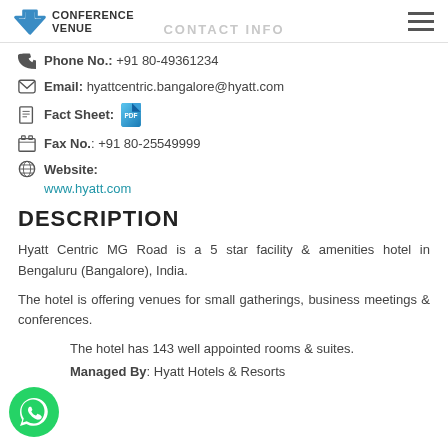CONFERENCE VENUE
CONTACT INFO
Phone No.: +91 80-49361234
Email: hyattcentric.bangalore@hyatt.com
Fact Sheet: [PDF icon]
Fax No.: +91 80-25549999
Website:
www.hyatt.com
DESCRIPTION
Hyatt Centric MG Road is a 5 star facility & amenities hotel in Bengaluru (Bangalore), India.
The hotel is offering venues for small gatherings, business meetings & conferences.
The hotel has 143 well appointed rooms & suites.
Managed By: Hyatt Hotels & Resorts